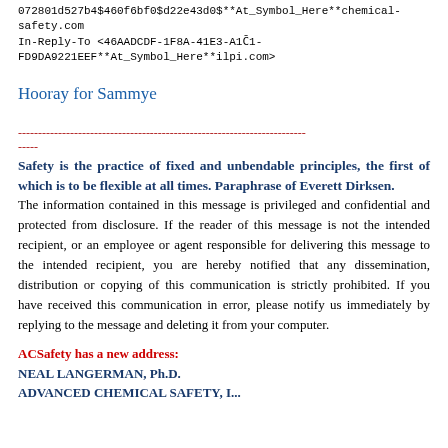072801d527b4$460f6bf0$d22e43d0$**At_Symbol_Here**chemical-safety.com
In-Reply-To <46AADCDF-1F8A-41E3-A1C1-FD9DA9221EEF**At_Symbol_Here**ilpi.com>
Hooray for Sammye
------------------------------------------------------------------------
-----
Safety is the practice of fixed and unbendable principles, the first of which is to be flexible at all times. Paraphrase of Everett Dirksen.
The information contained in this message is privileged and confidential and protected from disclosure. If the reader of this message is not the intended recipient, or an employee or agent responsible for delivering this message to the intended recipient, you are hereby notified that any dissemination, distribution or copying of this communication is strictly prohibited. If you have received this communication in error, please notify us immediately by replying to the message and deleting it from your computer.
ACSafety has a new address:
NEAL LANGERMAN, Ph.D.
ADVANCED CHEMICAL SAFETY, I...